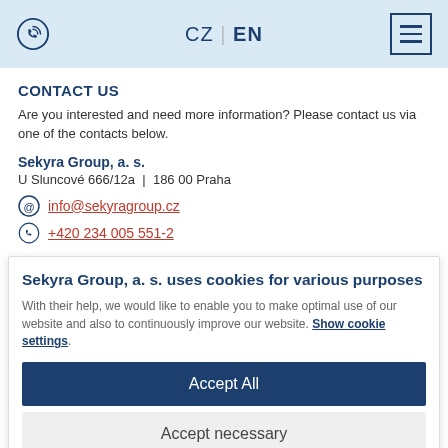CZ | EN
CONTACT US
Are you interested and need more information? Please contact us via one of the contacts below.
Sekyra Group, a. s.
U Sluncové 666/12a | 186 00 Praha
@ info@sekyragroup.cz
+420 234 005 551-2
Sekyra Group, a. s. uses cookies for various purposes
With their help, we would like to enable you to make optimal use of our website and also to continuously improve our website. Show cookie settings.
Accept All
Accept necessary